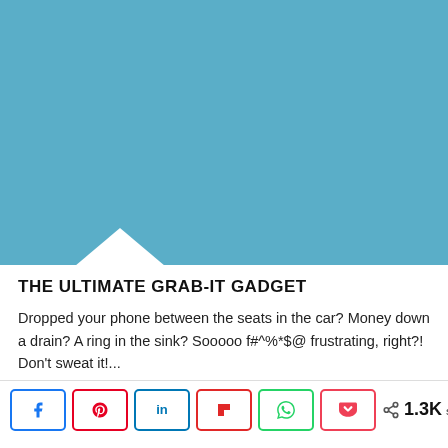[Figure (illustration): Blue/teal colored rectangular image background with a white downward-pointing triangle notch at the bottom-left area.]
THE ULTIMATE GRAB-IT GADGET
Dropped your phone between the seats in the car? Money down a drain? A ring in the sink? Sooooo f#^%*$@ frustrating, right?! Don’t sweat it!...
[Figure (infographic): Social share bar with buttons for Facebook, Pinterest, LinkedIn, Flipboard, WhatsApp, Pocket, and a share count showing 1.3K SHARES.]